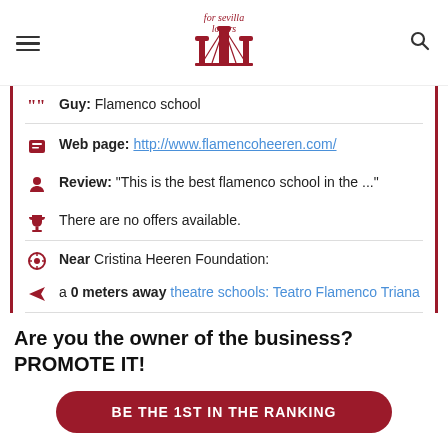For Sevilla Lovers — logo with navigation
Guy: Flamenco school
Web page: http://www.flamencoheeren.com/
Review: "This is the best flamenco school in the ..."
There are no offers available.
Near Cristina Heeren Foundation:
a 0 meters away theatre schools: Teatro Flamenco Triana
Are you the owner of the business? PROMOTE IT!
BE THE 1ST IN THE RANKING
EXCLUSIVE PAGE